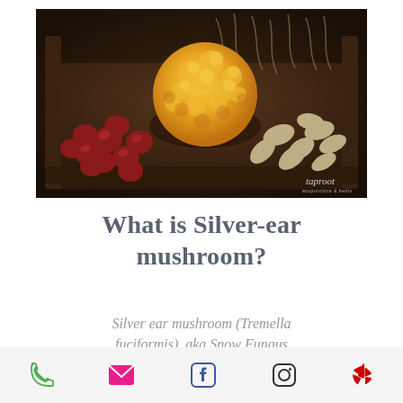[Figure (photo): A wooden tray holding a large golden/yellow fluffy fungus (silver ear mushroom), surrounded by dried red dates and sliced garlic pieces. Dark moody lighting. Watermark 'taproot' visible in bottom right corner.]
What is Silver-ear mushroom?
Silver ear mushroom (Tremella fuciformis), aka Snow Fungus
Phone | Email | Facebook | Instagram | Yelp (social media icons)